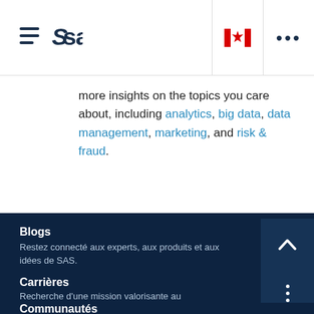SAS logo navigation header with hamburger menu, Canadian flag, and ellipsis menu
more insights on the topics you care about, including analytics, big data, data management, marketing, and risk & fraud.
Blogs
Restez connecté aux experts, aux produits et aux idées de SAS.
Carrières
Recherche d'une mission valorisante au sein d'une culture reconnue
Communautés
Trouvez vos réponses SAS avec l'aide des communautés